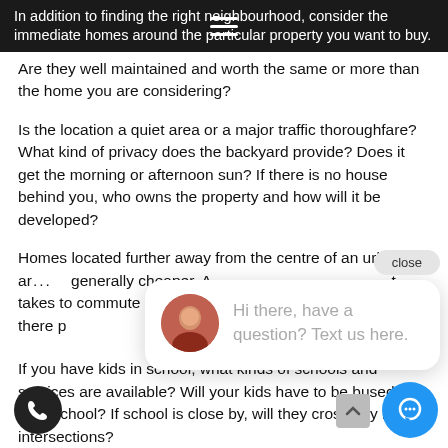In addition to finding the right neighbourhood, consider the immediate homes around the particular property you want to buy.
Are they well maintained and worth the same or more than the home you are considering?
Is the location a quiet area or a major traffic thoroughfare? What kind of privacy does the backyard provide? Does it get the morning or afternoon sun? If there is no house behind you, who owns the property and how will it be developed?
Homes located further away from the centre of an urban area are generally cheaper. A[...] t takes to commute an[...] commit to? Is there p[...] ys nearby?
[Figure (screenshot): Chat popup with avatar photo, close button, and text 'Hi there, have a question? Text us here.']
If you have kids in school, what kinds of schools and services are available? Will your kids have to be bused to their school? If school is close by, will they cross any major intersections?